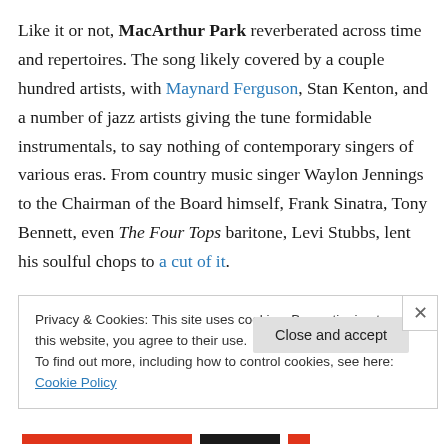Like it or not, MacArthur Park reverberated across time and repertoires. The song likely covered by a couple hundred artists, with Maynard Ferguson, Stan Kenton, and a number of jazz artists giving the tune formidable instrumentals, to say nothing of contemporary singers of various eras. From country music singer Waylon Jennings to the Chairman of the Board himself, Frank Sinatra, Tony Bennett, even The Four Tops baritone, Levi Stubbs, lent his soulful chops to a cut of it.
Privacy & Cookies: This site uses cookies. By continuing to use this website, you agree to their use.
To find out more, including how to control cookies, see here: Cookie Policy
Close and accept